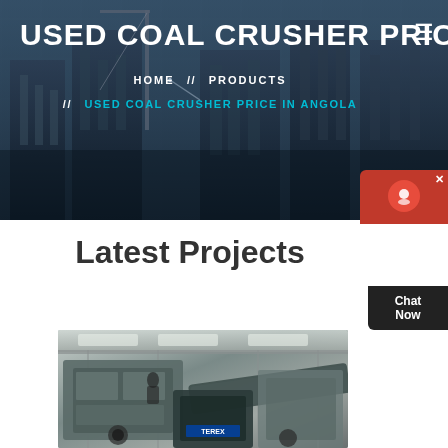USED COAL CRUSHER PRICE IN A
HOME // PRODUCTS // USED COAL CRUSHER PRICE IN ANGOLA
Latest Projects
[Figure (photo): Industrial coal crusher machinery inside a facility with metal structures and equipment visible]